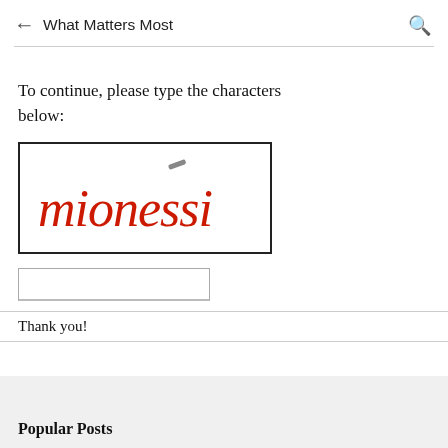← What Matters Most 🔍
To continue, please type the characters below:
[Figure (other): CAPTCHA image showing handwritten red cursive text 'mionessi' with a small gray dash in upper right, in a bordered rectangle]
Thank you!
Popular Posts